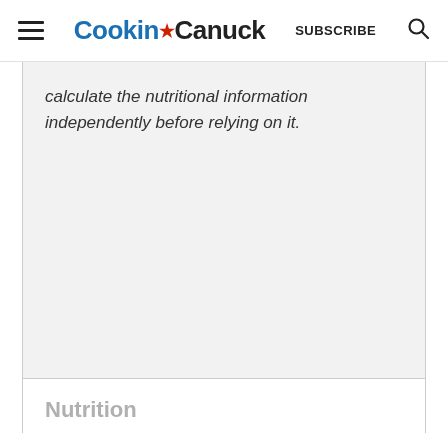Cookin' Canuck   SUBSCRIBE
calculate the nutritional information independently before relying on it.
Nutrition